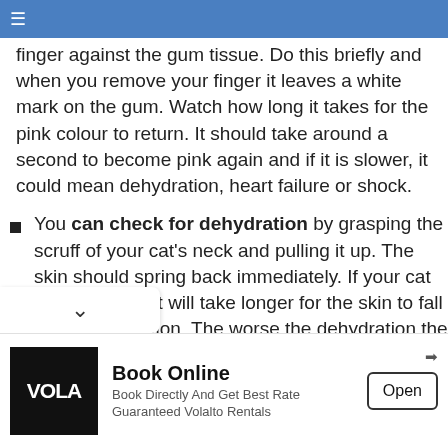finger against the gum tissue. Do this briefly and when you remove your finger it leaves a white mark on the gum. Watch how long it takes for the pink colour to return. It should take around a second to become pink again and if it is slower, it could mean dehydration, heart failure or shock.
You can check for dehydration by grasping the scruff of your cat's neck and pulling it up. The skin should spring back immediately. If your cat is dehydrated it will take longer for the skin to fall back into position. The worse the dehydration the longer it takes.
You can check your cat's gums to ensure that they are pink if they are pale or it white may indicate aemia or shock. Blue gums indicate that there is not
[Figure (other): Advertisement banner for Volalto Rentals: Book Online - Book Directly And Get Best Rate Guaranteed Volalto Rentals, with Open button]